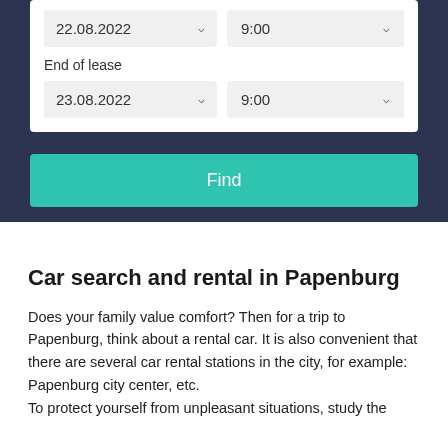[Figure (screenshot): Car rental search form with dark navy background. Shows End of lease label, date dropdown set to 23.08.2022, time dropdown set to 9:00, and a teal Find button below. Top portion also shows a previous date row with 22.08.2022 and 9:00 dropdowns.]
Car search and rental in Papenburg
Does your family value comfort? Then for a trip to Papenburg, think about a rental car. It is also convenient that there are several car rental stations in the city, for example: Papenburg city center, etc.
To protect yourself from unpleasant situations, study the